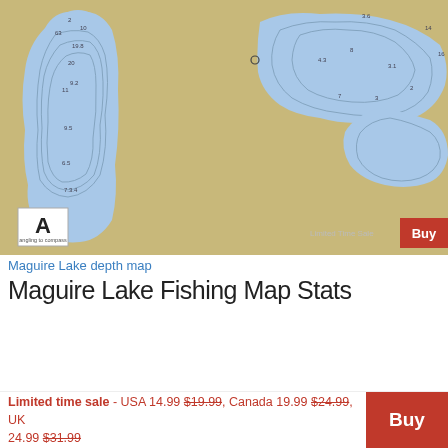[Figure (map): Maguire Lake depth map showing bathymetric contours. Two lake bodies shown in blue on a tan/khaki background. Left lake body is elongated vertically with depth markings (numbers like 19.8, 20, 11, 9.5, 8.5, 7.3.4, 3). Right lake body is irregular with depth markings (4.3, 2, 8, 3.1, 2, 3, 7). A compass/north arrow box is in the lower left. A 'Limited Time Sale' label and red 'Buy' button appear in the lower right.]
Maguire Lake depth map
Maguire Lake Fishing Map Stats
| Title | Maguire Lake |
| Scale | 1:6000 |
| Districts | Algoma |
| Nearby Cities | Wawa |
| Area * | 118.06 acres |
| Shoreline * | 4.56 miles |
Limited time sale - USA 14.99 $19.99, Canada 19.99 $24.99, UK 24.99 $31.99  Buy